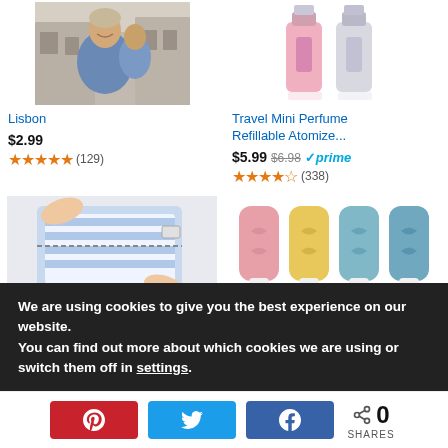[Figure (photo): Man smiling in street scene (Lisbon travel book cover)]
[Figure (photo): Two travel mini perfume refillable atomizer bottles (pink and silver)]
Lisbon
Travel Mini Perfume Refillable Atomize...
$2.99
$5.99 $6.98 ✓prime
★★★★★ (129)
★★★★☆ (338)
[Figure (photo): Hands packing striped shirt into packing cube]
[Figure (photo): Four silicone travel bottles in pink, yellow, teal colors]
We are using cookies to give you the best experience on our website.
You can find out more about which cookies we are using or switch them off in settings.
0
SHARES